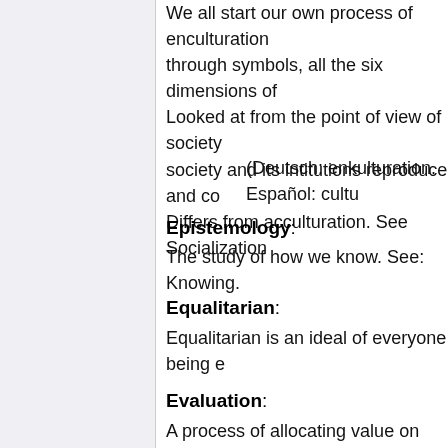We all start our own process of enculturation through symbols, all the six dimensions of culture. Looked at from the point of view of society, society and its intitutions reproduce and co... Differs from acculturation. See Socialization
(Deutsch: enkulturation. Español: cultu...)
Epistemology:
The study of how we know. See: Knowing.
Equalitarian:
Equalitarian is an ideal of everyone being e... people are born with different strengths and... and power. It may be unfair, but who has e... What is important, then, is that we are all tr... different for the privileged than for the poor... equal opportunities to help and to improve obtain an education.
(Deutsch: egalitär, Español: igualitario,
Evaluation:
A process of allocating value on what a pro...